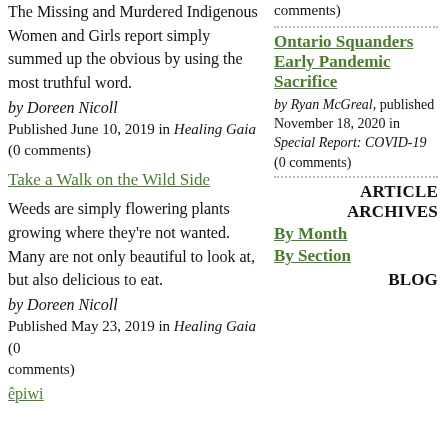The Missing and Murdered Indigenous Women and Girls report simply summed up the obvious by using the most truthful word.
by Doreen Nicoll
Published June 10, 2019 in Healing Gaia (0 comments)
Take a Walk on the Wild Side
Weeds are simply flowering plants growing where they're not wanted. Many are not only beautiful to look at, but also delicious to eat.
by Doreen Nicoll
Published May 23, 2019 in Healing Gaia (0 comments)
comments)
Ontario Squanders Early Pandemic Sacrifice
by Ryan McGreal, published November 18, 2020 in Special Report: COVID-19 (0 comments)
ARTICLE ARCHIVES
By Month
By Section